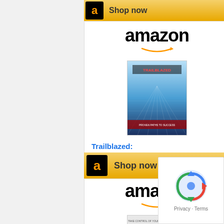[Figure (other): Amazon 'Shop now' button at top]
[Figure (other): Amazon advertisement block with book: Trailblazed: Proven Paths...]
Trailblazed: Proven Paths...
$4.99
[Figure (other): Amazon 'Shop now' button second]
[Figure (other): Amazon advertisement block with book: Bend the Healthcare...]
Bend the Healthcare...
[Figure (other): reCAPTCHA badge with Privacy and Terms]